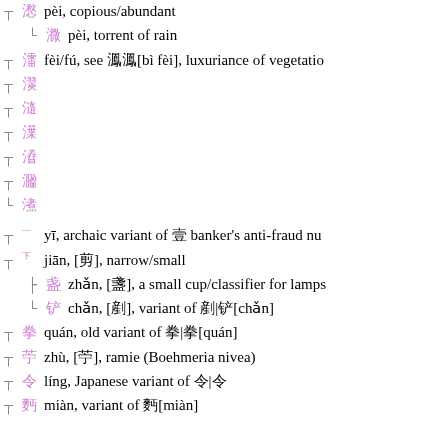pèi, copious/abundant
pèi, torrent of rain
fèi/fú, see 㵯㵯[bì fèi], luxuriance of vegetation
(character entry)
(character entry)
(character entry)
(character entry)
(character entry)
(character entry)
yī, archaic variant of 壹 banker's anti-fraud numeral
jiān, [剪], narrow/small
zhǎn, [盞], a small cup/classifier for lamps
chǎn, [剷], variant of 剷|铲[chǎn]
quán, old variant of 拳|拳[quán]
zhù, [苧], ramie (Boehmeria nivea)
líng, Japanese variant of 令|令
miàn, variant of 麪[miàn]